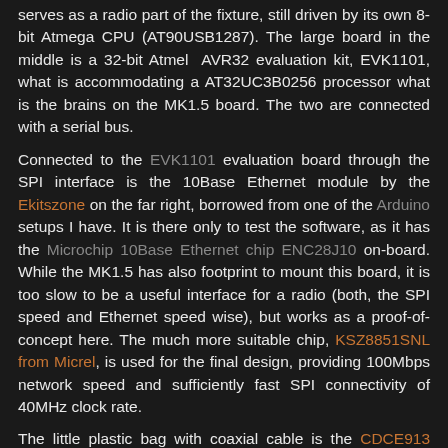serves as a radio part of the fixture, still driven by its own 8-bit Atmega CPU (AT90USB1287). The large board in the middle is a 32-bit Atmel AVR32 evaluation kit, EVK1101, what is accommodating a AT32UC3B0256 processor what is the brains on the MK1.5 board. The two are connected with a serial bus.
Connected to the EVK1101 evaluation board through the SPI interface is the 10Base Ethernet module by the Ekitszone on the far right, borrowed from one of the Arduino setups I have. It is there only to test the software, as it has the Microchip 10Base Ethernet chip ENC28J10 on-board. While the MK1.5 has also footprint to mount this board, it is too slow to be a useful interface for a radio (both, the SPI speed and Ethernet speed wise), but works as a proof-of-concept here. The much more suitable chip, KSZ8851SNL from Micrel, is used for the final design, providing 100Mbps network speed and sufficiently fast SPI connectivity of 40MHz clock rate.
The little plastic bag with coaxial cable is the CDCE913 clock synthesizer prototype. The coaxial cable from the main circuit to one of our antenna test benches...